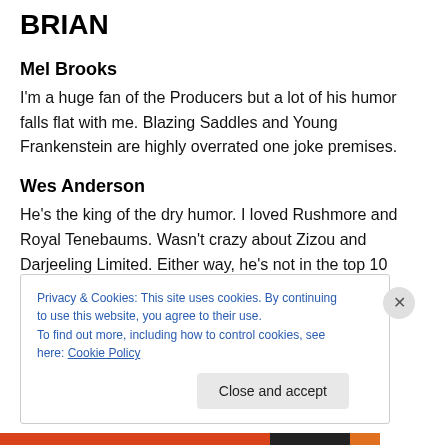BRIAN
Mel Brooks
I'm a huge fan of the Producers but a lot of his humor falls flat with me. Blazing Saddles and Young Frankenstein are highly overrated one joke premises.
Wes Anderson
He's the king of the dry humor. I loved Rushmore and Royal Tenebaums. Wasn't crazy about Zizou and Darjeeling Limited. Either way, he's not in the top 10
Privacy & Cookies: This site uses cookies. By continuing to use this website, you agree to their use.
To find out more, including how to control cookies, see here: Cookie Policy